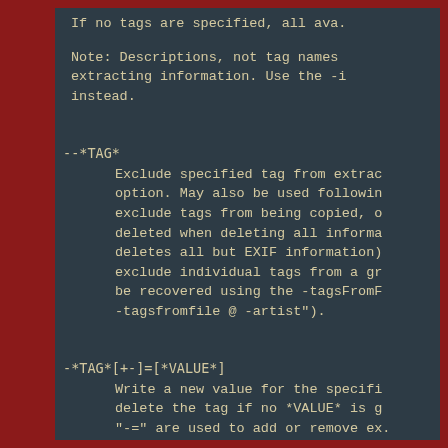If no tags are specified, all ava.
Note: Descriptions, not tag names extracting information. Use the -i instead.
--*TAG*
Exclude specified tag from extrac option. May also be used followin exclude tags from being copied, o deleted when deleting all informa deletes all but EXIF information) exclude individual tags from a gr be recovered using the -tagsFromF -tagsfromfile @ -artist").
-*TAG*[+-]=[*VALUE*]
Write a new value for the specifi delete the tag if no *VALUE* is g "-=" are used to add or remove ex. shift date/time values (see Image and "-=" may be used to condition "WRITING EXAMPLES" for examples).